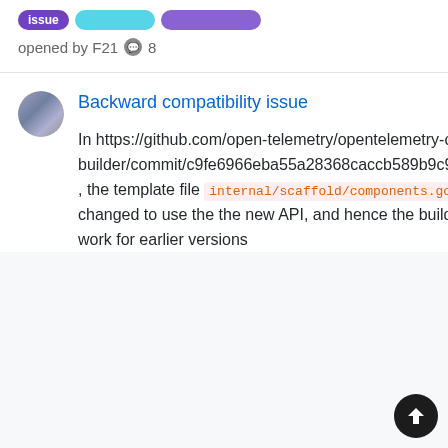[Figure (other): Label badges: issue (purple), cyan badge, violet badge]
opened by F21 💬 8
Backward compatibility issue
In https://github.com/open-telemetry/opentelemetry-collector-builder/commit/c9fe6966eba55a28368caccb589b9c913adba7e5 , the template file internal/scaffold/components.go has been changed to use the the new API, and hence the builder does not work for earlier versions